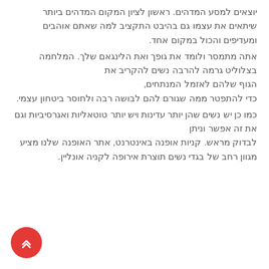יוצאים למסע המדהים. ראשון לציון המקום המדהים ביותר שיתאים את עצמו גם בהיבט התקציב למה שאתם אוהבים ומעדיפים והכול במקום אחד.
אתה מתמסר ולומד את גופך ואת הלינגאם שלך. המלחמה בצלוליט גרמה להרבה נשים להקריב את הגוף שלהם לאזמל המנתחים, כדי להתפטר ממה שגורם להם לבושה רבה ולחוסר ביטחון עצמי.
כמו כן יש נשים שהן יותר עדינות ויש יותר טוטאליות ואגרסיביות וגם את זה אפשר וניתן לבדוק מראש. קניות אופנה באינטרנט, אתר האופנה שלנו מציע מגוון רחב של בגדי נשים תוצרת אירופה לקניה אונליין.